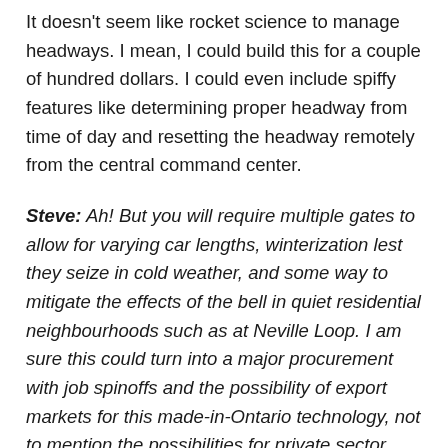It doesn't seem like rocket science to manage headways. I mean, I could build this for a couple of hundred dollars. I could even include spiffy features like determining proper headway from time of day and resetting the headway remotely from the central command center.
Steve: Ah! But you will require multiple gates to allow for varying car lengths, winterization lest they seize in cold weather, and some way to mitigate the effects of the bell in quiet residential neighbourhoods such as at Neville Loop. I am sure this could turn into a major procurement with job spinoffs and the possibility of export markets for this made-in-Ontario technology, not to mention the possibilities for private sector participation and lots of photo ops for the